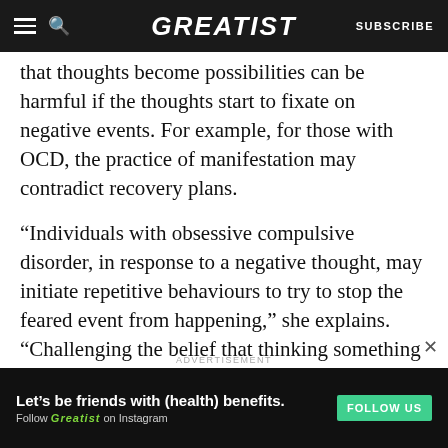GREATIST | SUBSCRIBE
that thoughts become possibilities can be harmful if the thoughts start to fixate on negative events. For example, for those with OCD, the practice of manifestation may contradict recovery plans.
“Individuals with obsessive compulsive disorder, in response to a negative thought, may initiate repetitive behaviours to try to stop the feared event from happening,” she explains. “Challenging the belief that thinking something means it will come true is a key feature of treatment for OCD.”
ADVERTISEMENT
[Figure (infographic): Advertisement banner with dark background: 'Let’s be friends with (health) benefits. Follow GREATIST on Instagram' with a green FOLLOW US button.]